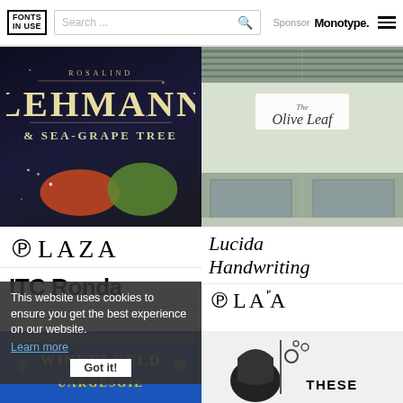FONTS IN USE | Search ... | Sponsor Monotype.
[Figure (photo): Book cover with dark background showing 'ROSALIND LEHMANN A SEA-GRAPE TREE' in decorative art deco typography]
[Figure (photo): Storefront photo of 'The Olive Leaf' store with glass windows and parking lot]
PLAZA
Lucida Handwriting
ITC Ronda
PLAZA
This website uses cookies to ensure you get the best experience on our website.
Learn more
Got it!
[Figure (photo): Dutch tile/poster image with text 'WINKELGELD' and decorative patterns in blue and gold]
[Figure (illustration): Black and white illustration with text 'THESE' and abstract shapes with circles]